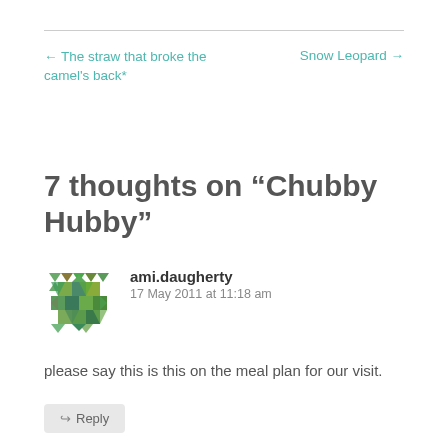← The straw that broke the camel's back*
Snow Leopard →
7 thoughts on “Chubby Hubby”
ami.daugherty
17 May 2011 at 11:18 am
please say this is this on the meal plan for our visit.
Reply